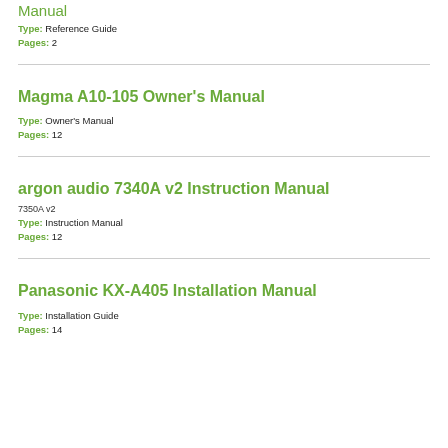Manual
Type: Reference Guide
Pages: 2
Magma A10-105 Owner's Manual
Type: Owner's Manual
Pages: 12
argon audio 7340A v2 Instruction Manual
7350A v2
Type: Instruction Manual
Pages: 12
Panasonic KX-A405 Installation Manual
Type: Installation Guide
Pages: 14